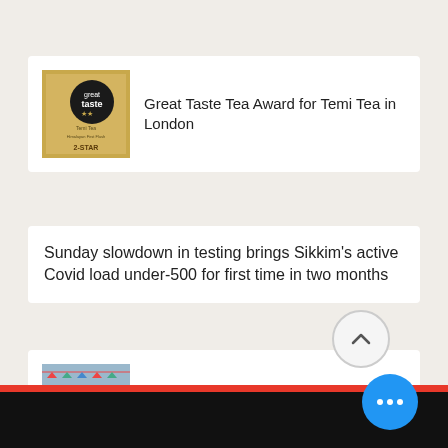[Figure (photo): Great Taste award badge - gold colored certificate with 2-star rating for Temi Tea]
Great Taste Tea Award for Temi Tea in London
Sunday slowdown in testing brings Sikkim's active Covid load under-500 for first time in two months
[Figure (photo): Group of people at The Himalayan Cleanup 2022 event, surrounded by collected waste bags]
4,143 kilos of waste collected in The Himalayan Cleanup 2022